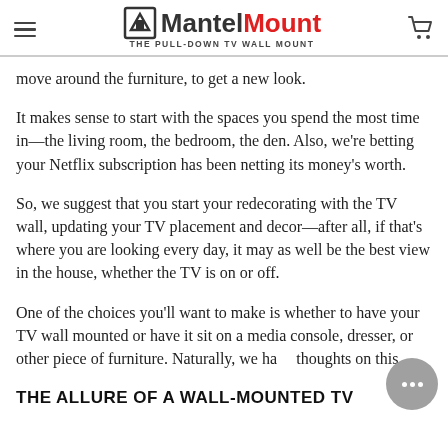MantelMount — THE PULL-DOWN TV WALL MOUNT
move around the furniture, to get a new look.
It makes sense to start with the spaces you spend the most time in—the living room, the bedroom, the den. Also, we're betting your Netflix subscription has been netting its money's worth.
So, we suggest that you start your redecorating with the TV wall, updating your TV placement and decor—after all, if that's where you are looking every day, it may as well be the best view in the house, whether the TV is on or off.
One of the choices you'll want to make is whether to have your TV wall mounted or have it sit on a media console, dresser, or other piece of furniture. Naturally, we have thoughts on this.
THE ALLURE OF A WALL-MOUNTED TV